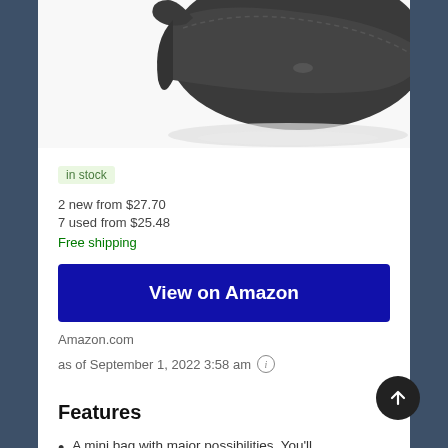[Figure (photo): Product photo of a dark gray/charcoal mini crossbody bag with a flap closure and wrist strap, shown against a white background with a subtle reflection.]
in stock
2 new from $27.70
7 used from $25.48
Free shipping
View on Amazon
Amazon.com
as of September 1, 2022 3:58 am
Features
A mini bag with major possibilities. You'll